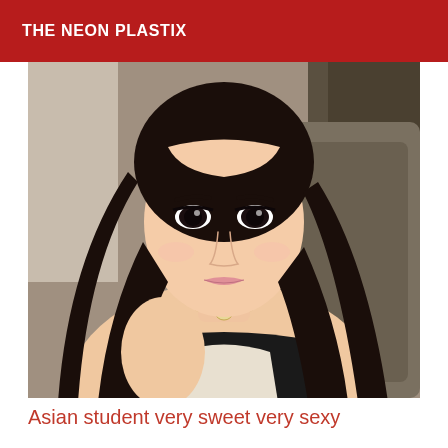THE NEON PLASTIX
[Figure (photo): Young Asian woman with long dark hair, wearing a black and white top with a heart necklace, seated in a car interior, taking a selfie-style photo.]
Asian student very sweet very sexy